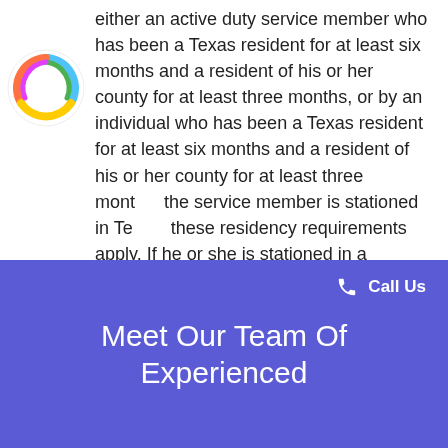either an active duty service member who has been a Texas resident for at least six months and a resident of his or her county for at least three months, or by an individual who has been a Texas resident for at least six months and a resident of his or her county for at least three months the service member is stationed in Texas, these residency requirements apply. If he or she is stationed in a different state, the process may require filing in a different state. The experienced Austin divorce lawyers at Modern Family Law can help you navigate any questions regarding residency requirements.
[Figure (logo): Modern Family Law circular logo with colorful swirl design]
Call Us
Meet Our Team Of Experienced